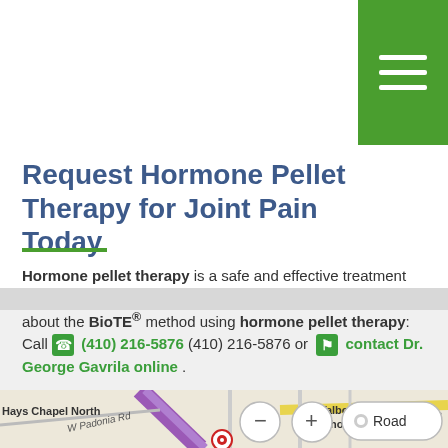Request Hormone Pellet Therapy for Joint Pain Today
Hormone pellet therapy is a safe and effective treatment that has been in use for decades. Request more information about the BioTE® method using hormone pellet therapy: Call (410) 216-5876 (410) 216-5876 or contact Dr. George Gavrila online .
[Figure (map): Google Maps panel showing Hours and Directions for PROMD HEALTH with a close button, and a road map view showing Hays Chapel North, W Padonia Rd, and Talbotts Choice area with a location marker.]